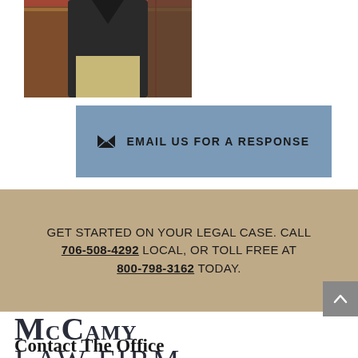[Figure (photo): Partial photo of a person in a dark jacket and khaki pants standing in front of a decorative rug background]
EMAIL US FOR A RESPONSE
GET STARTED ON YOUR LEGAL CASE. CALL 706-508-4292 LOCAL, OR TOLL FREE AT 800-798-3162 TODAY.
[Figure (logo): McCamy Law Firm logo — McCamy Law Firm ESTD 1932, McCAMY, PHILLIPS, TUGGLE & FORDHAM, LLP]
Contact The Office